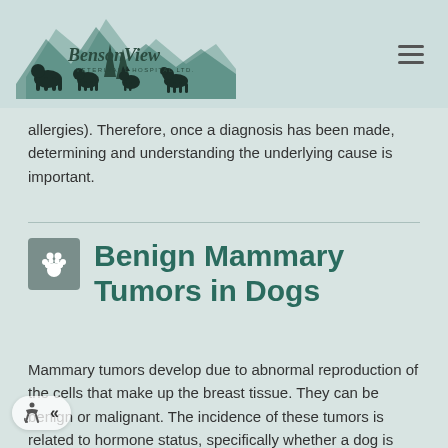[Figure (logo): Benson View Veterinary Hospital Ltd. logo with silhouettes of animals and mountain/forest background in teal green]
allergies). Therefore, once a diagnosis has been made, determining and understanding the underlying cause is important.
Benign Mammary Tumors in Dogs
Mammary tumors develop due to abnormal reproduction of the cells that make up the breast tissue. They can be benign or malignant. The incidence of these tumors is related to hormone status, specifically whether a dog is intact or has had an ovariohysterectomy, age, and breed. Because dogs can have both